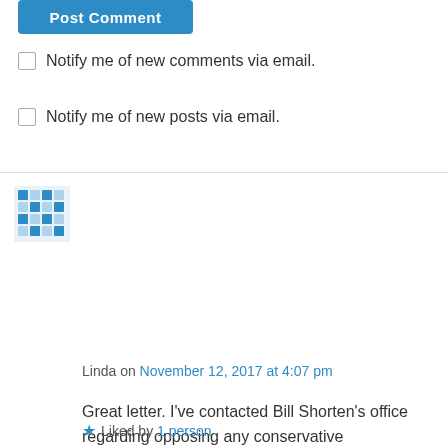[Figure (other): Blue 'Post Comment' button (partially visible at top)]
Notify me of new comments via email.
Notify me of new posts via email.
Linda on November 12, 2017 at 4:07 pm
Great letter. I've contacted Bill Shorten's office regarding opposing any conservative amendments and removing discriminatory provisions in the Smith bill.

I am assuming that the Ian Goodenough bill would not have the numbers in the Senate or House of Reps.
Liked by 1 person